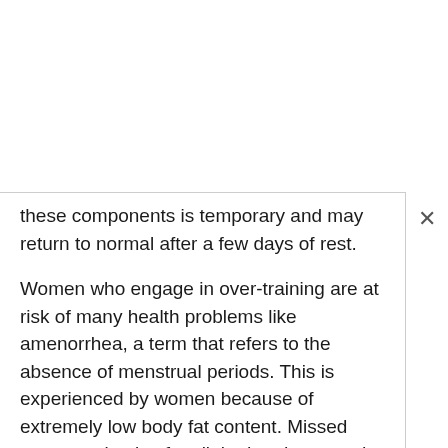these components is temporary and may return to normal after a few days of rest.
Women who engage in over-training are at risk of many health problems like amenorrhea, a term that refers to the absence of menstrual periods. This is experienced by women because of extremely low body fat content. Missed menstruation is often linked to decreased estrogen (primary female sex hormone) levels. Several medical studies show that amenorrheic women, and those who have body fats below 10% of the ideal measure may have a hard time getting pregnant. In addition to this, amenorrhea may also lead to osteoporosis, an ailment which decreases bone density, making the bones vulnerable to fracture and other